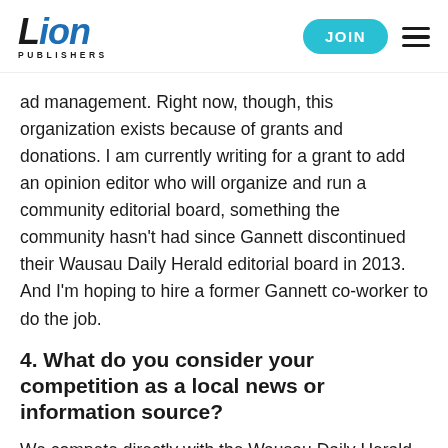Lion Publishers — JOIN
ad management. Right now, though, this organization exists because of grants and donations. I am currently writing for a grant to add an opinion editor who will organize and run a community editorial board, something the community hasn't had since Gannett discontinued their Wausau Daily Herald editorial board in 2013. And I'm hoping to hire a former Gannett co-worker to do the job.
4. What do you consider your competition as a local news or information source?
We compete directly with the Wausau Daily Herald, the City Pages, and two local TV stations in our coverage. I try to find ways to fill gaps in coverage rather than